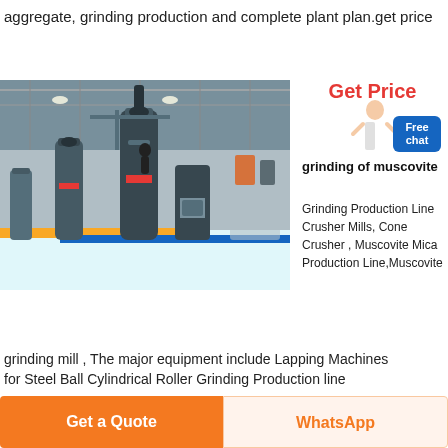aggregate, grinding production and complete plant plan.get price
Get Price
[Figure (photo): Industrial grinding mill machines on a factory floor with large cylindrical grinding units in a warehouse setting]
grinding of muscovite
Free chat
Grinding Production Line Crusher Mills, Cone Crusher , Muscovite Mica Production Line,Muscovite
grinding mill , The major equipment include Lapping Machines for Steel Ball Cylindrical Roller Grinding Production line
Get a Quote
WhatsApp